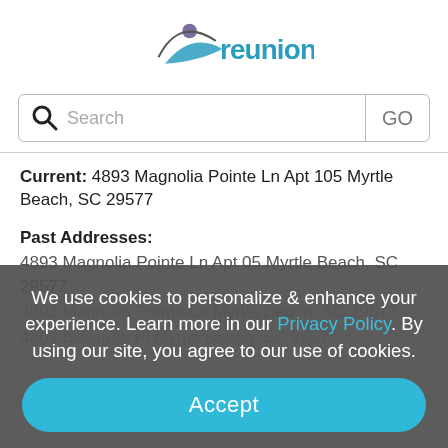[Figure (logo): reunion.com logo with figure icon]
Search  GO
Current: 4893 Magnolia Pointe Ln Apt 105 Myrtle Beach, SC 29577
Past Addresses:
4893 Magnolia Pointe Ln Apt 05 Myrtle Beach, SC 29577
4893 Magnolia Pointe Ln Myrtle Beach, SC 29577
4803 Bovardia Pl Myrtle Beach, SC 29577.
We use cookies to personalize & enhance your experience. Learn more in our Privacy Policy. By using our site, you agree to our use of cookies.
Accept